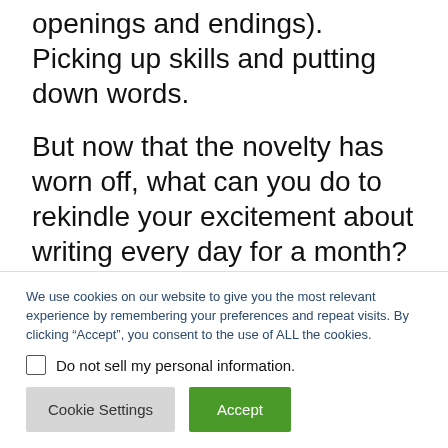openings and endings). Picking up skills and putting down words.
But now that the novelty has worn off, what can you do to rekindle your excitement about writing every day for a month?
We use cookies on our website to give you the most relevant experience by remembering your preferences and repeat visits. By clicking “Accept”, you consent to the use of ALL the cookies.
Do not sell my personal information.
Cookie Settings
Accept